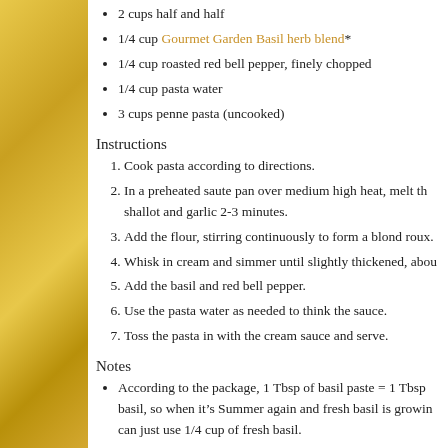2 cups half and half
1/4 cup Gourmet Garden Basil herb blend*
1/4 cup roasted red bell pepper, finely chopped
1/4 cup pasta water
3 cups penne pasta (uncooked)
Instructions
1. Cook pasta according to directions.
2. In a preheated saute pan over medium high heat, melt th shallot and garlic 2-3 minutes.
3. Add the flour, stirring continuously to form a blond roux.
4. Whisk in cream and simmer until slightly thickened, abou
5. Add the basil and red bell pepper.
6. Use the pasta water as needed to think the sauce.
7. Toss the pasta in with the cream sauce and serve.
Notes
According to the package, 1 Tbsp of basil paste = 1 Tbsp basil, so when it’s Summer again and fresh basil is growin can just use 1/4 cup of fresh basil.
Anyone else have the urge to go walk barefoot in grass?